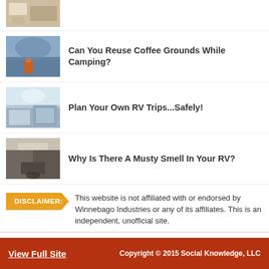[Figure (photo): Partial top photo of RV interior/kitchen]
[Figure (photo): Outdoor camping scene with coffee and mountain view]
Can You Reuse Coffee Grounds While Camping?
[Figure (photo): RV interior with skylight and seats]
Plan Your Own RV Trips...Safely!
[Figure (photo): RV interior with feet propped up on dashboard]
Why Is There A Musty Smell In Your RV?
DISCLAIMER: This website is not affiliated with or endorsed by Winnebago Industries or any of its affiliates. This is an independent, unofficial site.
← Back To Home
View Full Site   Copyright © 2015 Social Knowledge, LLC